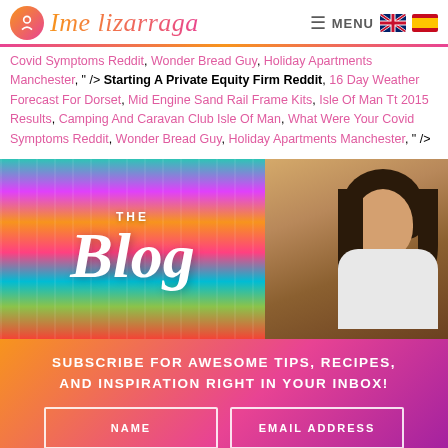Ime Lizarraga — MENU
Covid Symptoms Reddit, Wonder Bread Guy, Holiday Apartments Manchester, " /> Starting A Private Equity Firm Reddit, 16 Day Weather Forecast For Dorset, Mid Engine Sand Rail Frame Kits, Isle Of Man Tt 2015 Results, Camping And Caravan Club Isle Of Man, What Were Your Covid Symptoms Reddit, Wonder Bread Guy, Holiday Apartments Manchester, " />
[Figure (photo): Blog header image: left side shows colorful painted panels; right side shows a woman looking sideways against a wood background. Overlaid text reads 'THE Blog'.]
SUBSCRIBE FOR AWESOME TIPS, RECIPES, AND INSPIRATION RIGHT IN YOUR INBOX!
NAME   EMAIL ADDRESS
Yes!